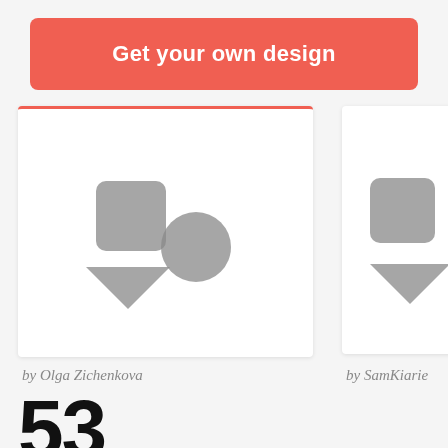Get your own design
[Figure (illustration): Card with placeholder shapes: a rounded square, a circle, and a triangle in grey, representing a design thumbnail by Olga Zichenkova]
by Olga Zichenkova
[Figure (illustration): Card with placeholder shapes: a rounded square, a circle, and a triangle in grey, representing a design thumbnail by SamKiarie]
by SamKiarie
53